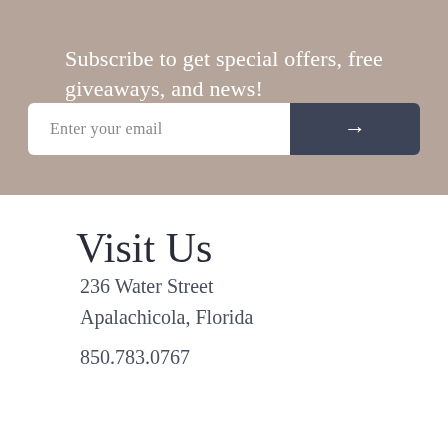Subscribe to get special offers, free giveaways, and news!
Enter your email
Visit Us
236 Water Street
Apalachicola, Florida
850.783.0767